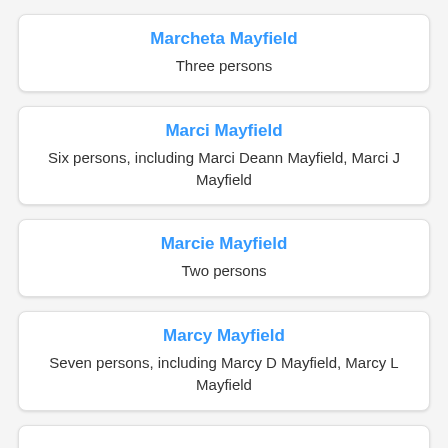Marcheta Mayfield
Three persons
Marci Mayfield
Six persons, including Marci Deann Mayfield, Marci J Mayfield
Marcie Mayfield
Two persons
Marcy Mayfield
Seven persons, including Marcy D Mayfield, Marcy L Mayfield